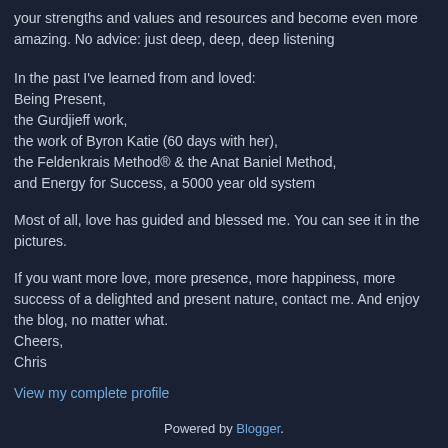your strengths and values and resources and become even more amazing. No advice: just deep, deep, deep listening
In the past I've learned from and loved:
Being Present,
the Gurdjieff work,
the work of Byron Katie (60 days with her),
the Feldenkrais Method® & the Anat Baniel Method,
and Energy for Success, a 5000 year old system
Most of all, love has guided and blessed me. You can see it in the pictures.
If you want more love, more presence, more happiness, more success of a delighted and present nature, contact me. And enjoy the blog, no matter what.
Cheers,
Chris
View my complete profile
Powered by Blogger.